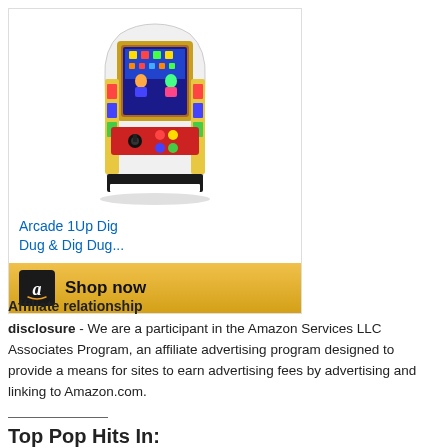[Figure (photo): Arcade 1Up Dig Dug cabinet product image shown in an Amazon affiliate ad widget with product title and Shop now button]
Affiliate relationship
disclosure - We are a participant in the Amazon Services LLC Associates Program, an affiliate advertising program designed to provide a means for sites to earn advertising fees by advertising and linking to Amazon.com.
Top Pop Hits In:
1980 - 1981 - 1982 - 1983
1984 - 1985 - 1986 - 1987
1988 - 1989